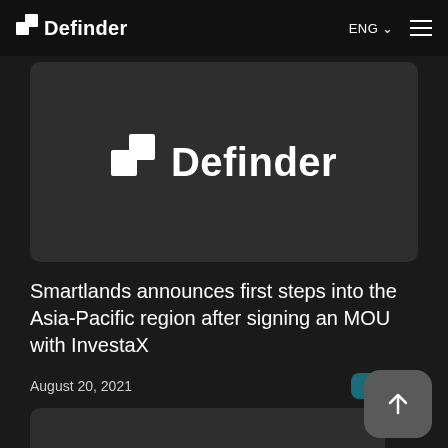Definder | ENG
[Figure (logo): Definder logo centered on dark rounded card background]
Smartlands announces first steps into the Asia-Pacific region after signing an MOU with InvestaX
August 20, 2021
Blog